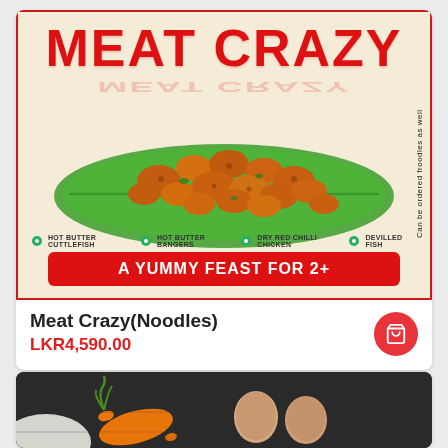[Figure (photo): Meat Crazy promotional image showing fried food on banana leaf with red border, 'MEAT CRAZY' title, item list, and 'A YUMMY FEAST FOR 2+' banner]
Meat Crazy(Noodles)
LKR4,590.00
[Figure (photo): Bottom card showing ingredients: carrot, eggs on dark background]